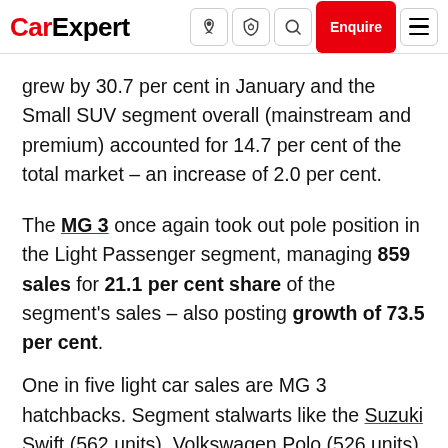CarExpert [nav icons] [Enquire button] [menu]
grew by 30.7 per cent in January and the Small SUV segment overall (mainstream and premium) accounted for 14.7 per cent of the total market – an increase of 2.0 per cent.
The MG 3 once again took out pole position in the Light Passenger segment, managing 859 sales for 21.1 per cent share of the segment's sales – also posting growth of 73.5 per cent.
One in five light car sales are MG 3 hatchbacks. Segment stalwarts like the Suzuki Swift (562 units), Volkswagen Polo (526 units) and Toyota Yaris (486...